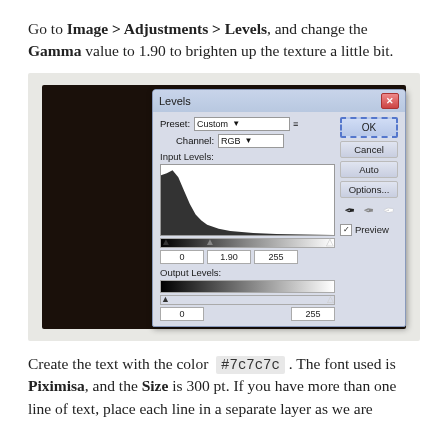Go to Image > Adjustments > Levels, and change the Gamma value to 1.90 to brighten up the texture a little bit.
[Figure (screenshot): Photoshop Levels dialog box showing a histogram with Input Levels 0, 1.90, 255 and Output Levels 0, 255. Channel is set to RGB, Preset is Custom.]
Create the text with the color #7c7c7c . The font used is Piximisa, and the Size is 300 pt. If you have more than one line of text, place each line in a separate layer as we are